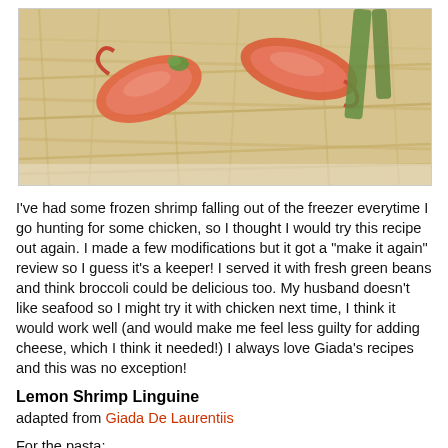[Figure (photo): Close-up photo of lemon shrimp linguine pasta with large shrimp on top, green beans visible in background, served on a white plate]
I've had some frozen shrimp falling out of the freezer everytime I go hunting for some chicken, so I thought I would try this recipe out again. I made a few modifications but it got a "make it again" review so I guess it's a keeper! I served it with fresh green beans and think broccoli could be delicious too. My husband doesn't like seafood so I might try it with chicken next time, I think it would work well (and would make me feel less guilty for adding cheese, which I think it needed!) I always love Giada's recipes and this was no exception!
Lemon Shrimp Linguine
adapted from Giada De Laurentiis
For the pasta: